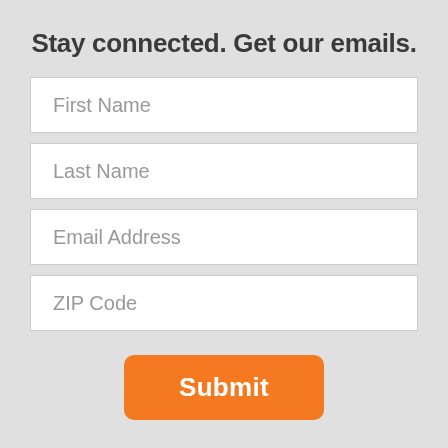Stay connected. Get our emails.
First Name
Last Name
Email Address
ZIP Code
Submit